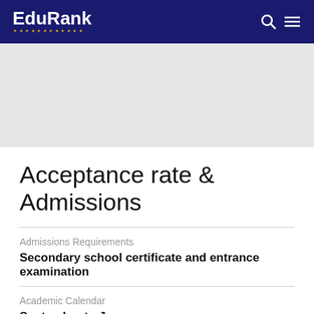EduRank
[Figure (other): Gray advertisement banner area]
Acceptance rate & Admissions
Admissions Requirements
Secondary school certificate and entrance examination
Academic Calendar
September to June
Enrollment